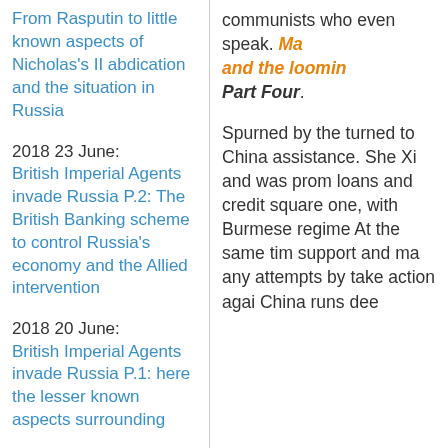From Rasputin to little known aspects of Nicholas's II abdication and the situation in Russia
2018 23 June: British Imperial Agents invade Russia P.2: The British Banking scheme to control Russia's economy and the Allied intervention
2018 20 June: British Imperial Agents invade Russia P.1: here the lesser known aspects surrounding the...
communists who even speak. Ma and the looming Part Four.
Spurned by the turned to China assistance. She Xi and was prom loans and credit square one, with Burmese regime At the same tim support and ma any attempts by take action agai China runs dee